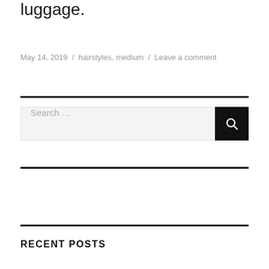luggage.
May 14, 2019 / hairstyles, medium / Leave a comment
RECENT POSTS